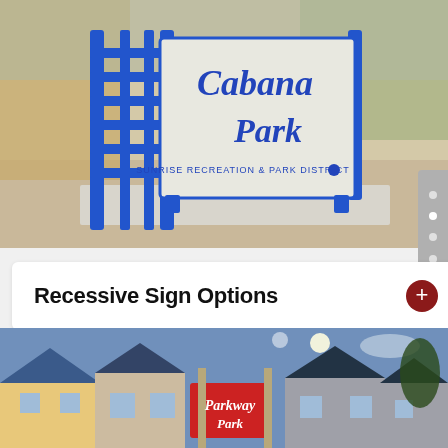[Figure (photo): Photo of Cabana Park sign — a large park entrance sign reading 'Cabana Park, Sunrise Recreation & Park District' mounted between blue metal gate frames, set on concrete with gravel landscaping and trees in background.]
Recessive Sign Options
[Figure (photo): Photo of Parkway Park entrance sign — a red monument sign reading 'Parkway Park' at the entrance of a residential neighborhood with houses visible in background, taken at dusk/evening.]